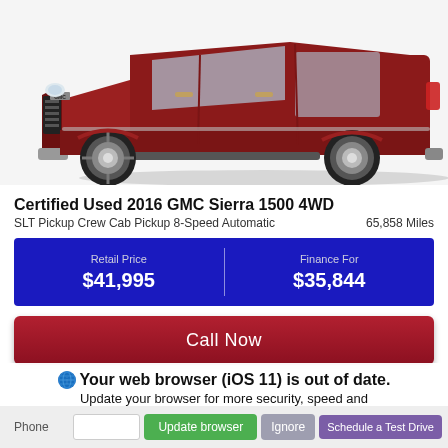[Figure (photo): Red GMC Sierra 1500 4WD pickup truck, front three-quarter view on white background]
Certified Used 2016 GMC Sierra 1500 4WD
SLT Pickup Crew Cab Pickup 8-Speed Automatic    65,858 Miles
| Retail Price | Finance For |
| --- | --- |
| $41,995 | $35,844 |
Call Now
Your web browser (iOS 11) is out of date. Update your browser for more security, speed and the best experience on this site.
Update browser   Ignore   Schedule a Test Drive